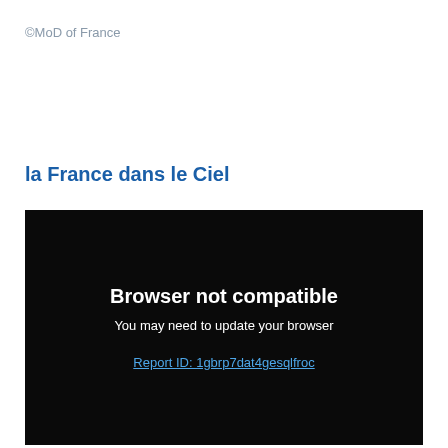©MoD of France
la France dans le Ciel
[Figure (screenshot): Black browser error panel displaying 'Browser not compatible' in bold white text, followed by 'You may need to update your browser' in white, and a blue underlined link 'Report ID: 1gbrp7dat4gesqlfroc']